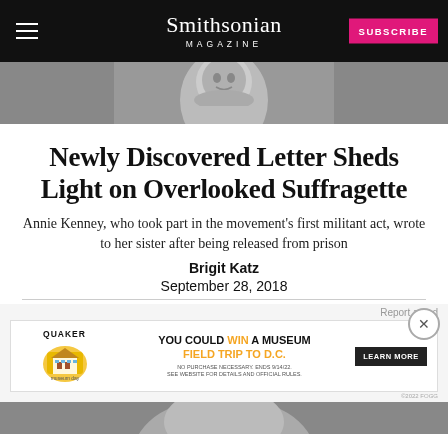Smithsonian MAGAZINE
[Figure (photo): Black and white portrait photo of Annie Kenney, cropped showing her face/neck area]
Newly Discovered Letter Sheds Light on Overlooked Suffragette
Annie Kenney, who took part in the movement's first militant act, wrote to her sister after being released from prison
Brigit Katz
September 28, 2018
[Figure (other): Quaker advertisement banner: YOU COULD WIN A MUSEUM FIELD TRIP TO D.C. with LEARN MORE button]
[Figure (photo): Black and white portrait photo continuation at bottom of page]